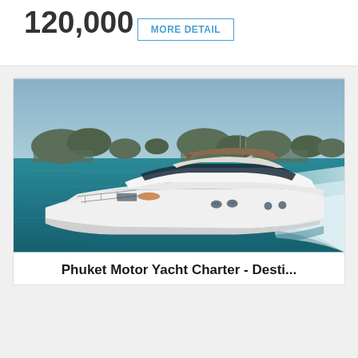120,000
MORE DETAIL
[Figure (photo): Luxury white motor yacht cruising at speed on turquoise water with rocky limestone islands in the background. A person is visible sunbathing on the bow deck and another at the helm.]
Phuket Motor Yacht Charter - Desti...